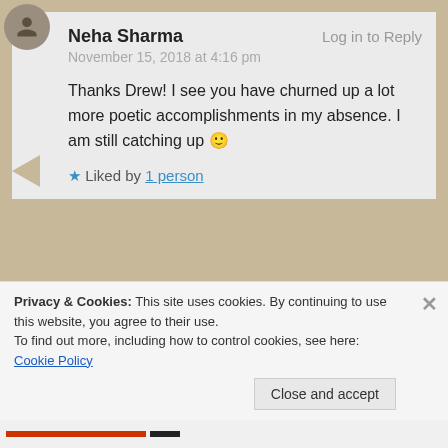Neha Sharma — Log in to Reply
November 15, 2018 at 4:16 pm
Thanks Drew! I see you have churned up a lot more poetic accomplishments in my absence. I am still catching up 🙂
★ Liked by 1 person
thelonelyauthorblog — Log in to Reply
November 15, 2018 at 8:28 pm
Privacy & Cookies: This site uses cookies. By continuing to use this website, you agree to their use.
To find out more, including how to control cookies, see here: Cookie Policy
Close and accept